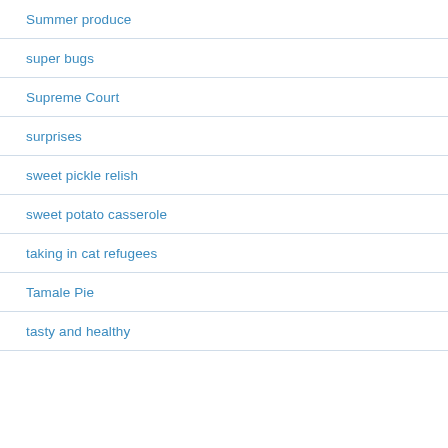Summer produce
super bugs
Supreme Court
surprises
sweet pickle relish
sweet potato casserole
taking in cat refugees
Tamale Pie
tasty and healthy